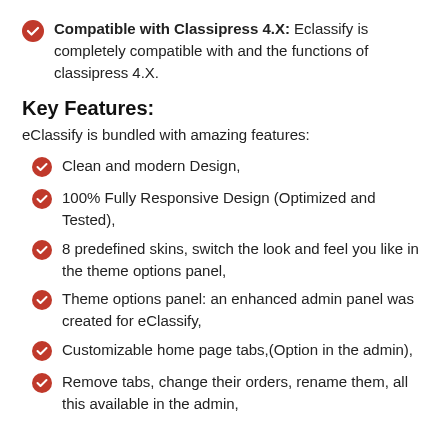Compatible with Classipress 4.X: Eclassify is completely compatible with and the functions of classipress 4.X.
Key Features:
eClassify is bundled with amazing features:
Clean and modern Design,
100% Fully Responsive Design (Optimized and Tested),
8 predefined skins, switch the look and feel you like in the theme options panel,
Theme options panel: an enhanced admin panel was created for eClassify,
Customizable home page tabs,(Option in the admin),
Remove tabs, change their orders, rename them, all this available in the admin,